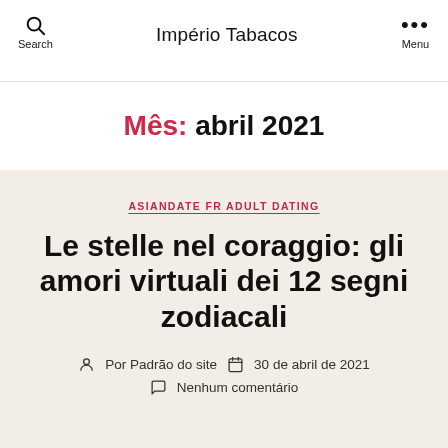Império Tabacos
Mês: abril 2021
ASIANDATE FR ADULT DATING
Le stelle nel coraggio: gli amori virtuali dei 12 segni zodiacali
Por Padrão do site   30 de abril de 2021   Nenhum comentário